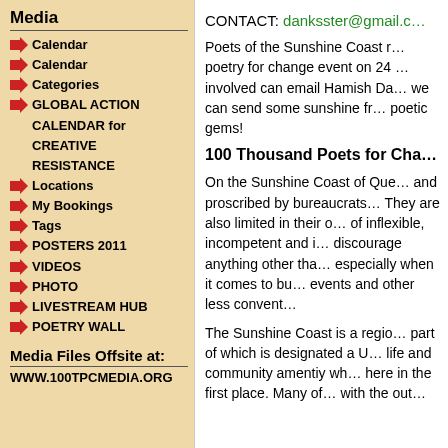Media
Calendar
Calendar
Categories
GLOBAL ACTION CALENDAR for CREATIVE RESISTANCE
Locations
My Bookings
Tags
POSTERS 2011
VIDEOS
PHOTO
LIVESTREAM HUB
POETRY WALL
Media Files Offsite at:
WWW.100TPCMEDIA.ORG
CONTACT: danksster@gmail.c…
Poets of the Sunshine Coast r… poetry for change event on 24 … involved can email Hamish Da… we can send some sunshine fr… poetic gems!
100 Thousand Poets for Cha…
On the Sunshine Coast of Que… and proscribed by bureaucrats… They are also limited in their o… of inflexible, incompetent and i… discourage anything other tha… especially when it comes to bu… events and other less convent…
The Sunshine Coast is a regio… part of which is designated a U… life and community amentiy wh… here in the first place. Many of… with the out…